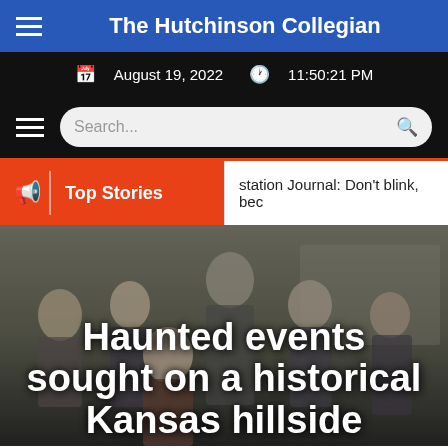The Hutchinson Collegian
August 19, 2022  11:50:21 PM
[Figure (screenshot): Search bar with hamburger menu icon on dark background]
Top Stories
station Journal: Don't blink, bec
[Figure (photo): Group of young people looking startled or scared in a room]
Haunted events sought on a historical Kansas hillside